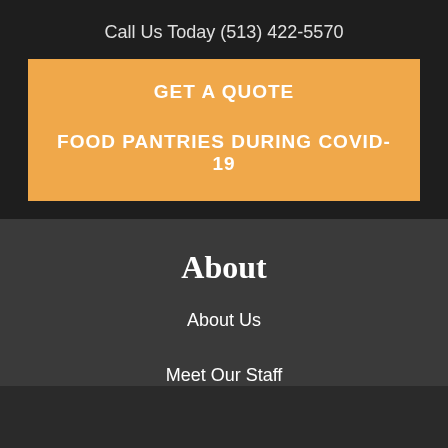Call Us Today (513) 422-5570
GET A QUOTE
FOOD PANTRIES DURING COVID-19
About
About Us
Meet Our Staff